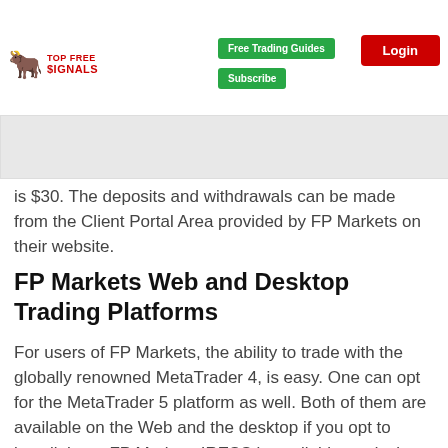the options provided. However, you should note that this variable is dependent on the amount depositing too. The withdrawal is also variable and depend on the method one
Free Trading Guides | Subscribe | Login — TOP FREE SIGNALS
is $30. The deposits and withdrawals can be made from the Client Portal Area provided by FP Markets on their website.
FP Markets Web and Desktop Trading Platforms
For users of FP Markets, the ability to trade with the globally renowned MetaTrader 4, is easy. One can opt for the MetaTrader 5 platform as well. Both of them are available on the Web and the desktop if you opt to install them. FP Markets IRESS is available on desktop and Web as well. In our FP Markets review, we look at the trading platforms and their suitability for both